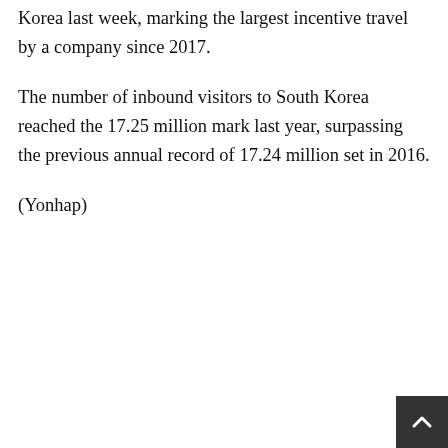Korea last week, marking the largest incentive travel by a company since 2017.
The number of inbound visitors to South Korea reached the 17.25 million mark last year, surpassing the previous annual record of 17.24 million set in 2016.
(Yonhap)